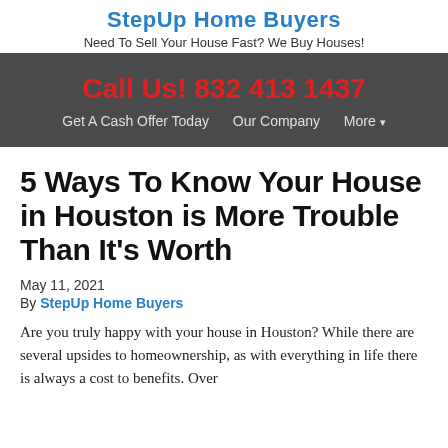StepUp Home Buyers
Need To Sell Your House Fast? We Buy Houses!
Call Us! 832 413 1437
Get A Cash Offer Today   Our Company   More ▾
5 Ways To Know Your House in Houston is More Trouble Than It's Worth
May 11, 2021
By StepUp Home Buyers
Are you truly happy with your house in Houston? While there are several upsides to homeownership, as with everything in life there is always a cost to benefits. Over